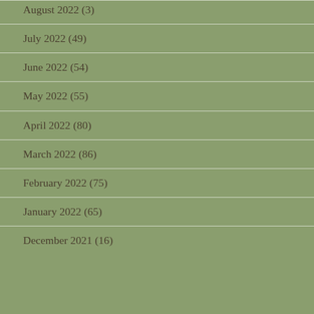August 2022 (3)
July 2022 (49)
June 2022 (54)
May 2022 (55)
April 2022 (80)
March 2022 (86)
February 2022 (75)
January 2022 (65)
December 2021 (16)